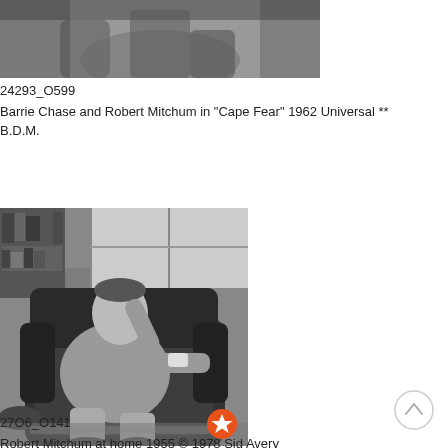[Figure (photo): Partial black and white photo of Barrie Chase and Robert Mitchum in Cape Fear, 1962 Universal — top portion cropped]
24293_O599
Barrie Chase and Robert Mitchum in "Cape Fear" 1962 Universal ** B.D.M.
[Figure (photo): Black and white photo of Robert Mitchum sitting relaxed in a leather armchair at home, 1955, by Sid Avery. Bookshelves visible in background.]
27O6_O141
Robert Mitchum at home 1955 © 1978 Sid Avery